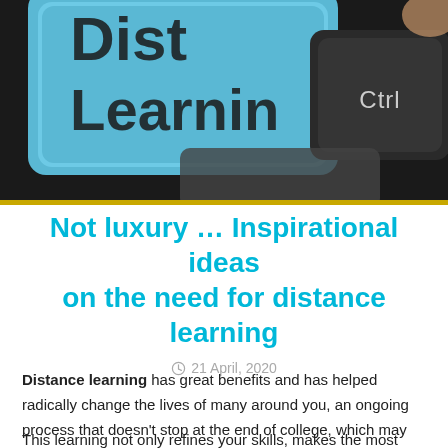[Figure (photo): Keyboard keys with 'Distance Learning' text on a blue key and 'Ctrl' on a dark key]
Not luxury … Inspirational ideas on the need for distance learning
21 April, 2020
Distance learning has great benefits and has helped radically change the lives of many around you, an ongoing process that doesn't stop at the end of college, which may include language learning or even cooking, drawing and exercise.
This learning not only refines your skills, makes the most